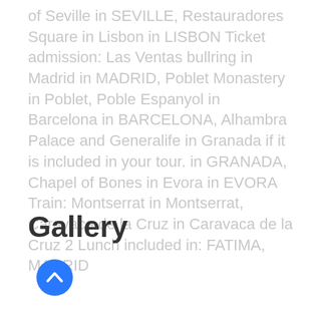of Seville in SEVILLE, Restauradores Square in Lisbon in LISBON Ticket admission: Las Ventas bullring in Madrid in MADRID, Poblet Monastery in Poblet, Poble Espanyol in Barcelona in BARCELONA, Alhambra Palace and Generalife in Granada if it is included in your tour. in GRANADA, Chapel of Bones in Evora in EVORA Train: Montserrat in Montserrat, Caravaca de la Cruz in Caravaca de la Cruz 2 Lunch included in: FATIMA, MADRID
Gallery
[Figure (other): Blue circular button with a white upward-pointing chevron arrow icon]